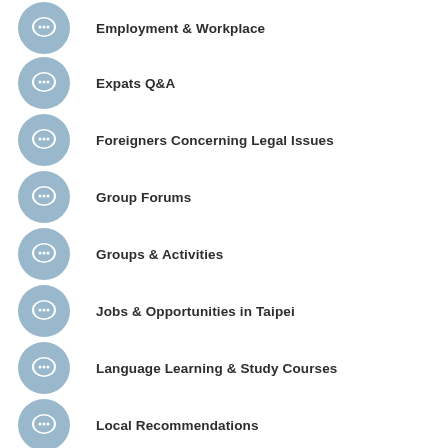Employment & Workplace
Expats Q&A
Foreigners Concerning Legal Issues
Group Forums
Groups & Activities
Jobs & Opportunities in Taipei
Language Learning & Study Courses
Local Recommendations